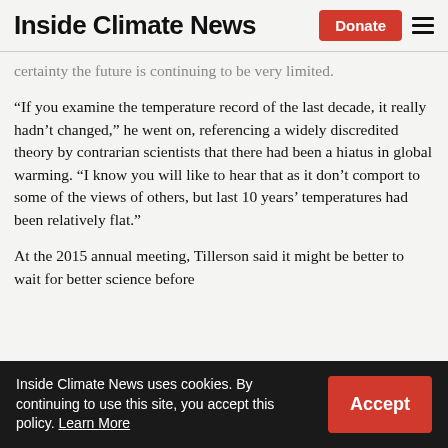Inside Climate News
certainty the future is continuing to be very limited.
“If you examine the temperature record of the last decade, it really hadn’t changed,” he went on, referencing a widely discredited theory by contrarian scientists that there had been a hiatus in global warming. “I know you will like to hear that as it don’t comport to some of the views of others, but last 10 years’ temperatures had been relatively flat.”
At the 2015 annual meeting, Tillerson said it might be better to wait for better science before
Inside Climate News uses cookies. By continuing to use this site, you accept this policy. Learn More